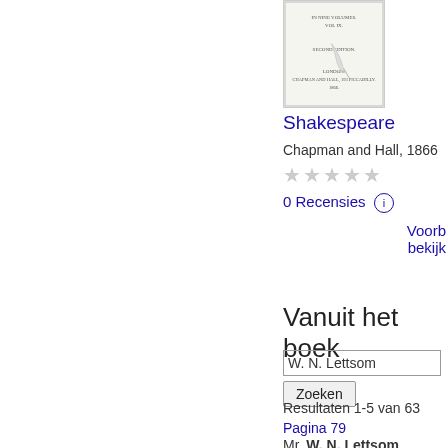[Figure (illustration): Book cover thumbnail for a Shakespeare publication by Chapman and Hall, 1866. Shows a title page with text in small print and a decorative quill/pen illustration in the lower right corner.]
Shakespeare
Chapman and Hall, 1866
★★★★★ (0 stars, greyed out)
0 Recensies ⓘ
Voorb bekijk
Vanuit het boek
W. N. Lettsom
Zoeken
Resultaten 1-5 van 63
Pagina 79
Mr. W. N. Lettsom